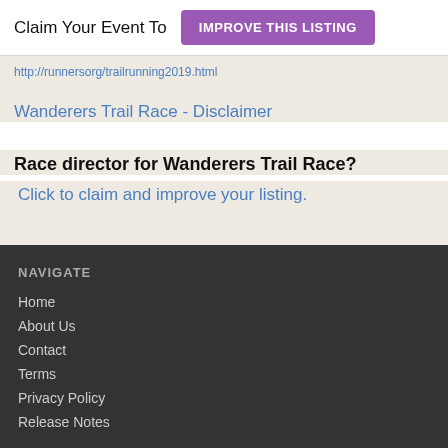Claim Your Event To  IMPROVE THIS LISTING
http://runnersorg/trailrunning2019.html
Wanderers Trail Race - Disclaimer
Race director for Wanderers Trail Race?
Click to claim and improve your listing.
NAVIGATE
Home
About Us
Contact
Terms
Privacy Policy
Release Notes